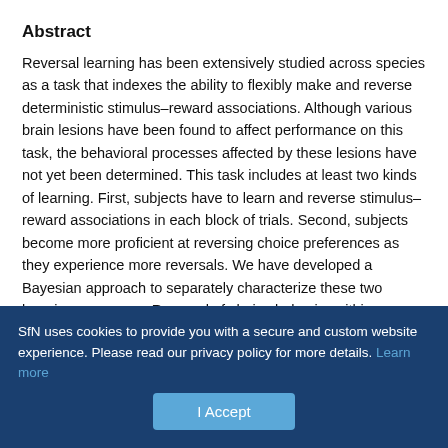Abstract
Reversal learning has been extensively studied across species as a task that indexes the ability to flexibly make and reverse deterministic stimulus–reward associations. Although various brain lesions have been found to affect performance on this task, the behavioral processes affected by these lesions have not yet been determined. This task includes at least two kinds of learning. First, subjects have to learn and reverse stimulus–reward associations in each block of trials. Second, subjects become more proficient at reversing choice preferences as they experience more reversals. We have developed a Bayesian approach to separately characterize these two learning processes. Reversal of choice behavior within
SfN uses cookies to provide you with a secure and custom website experience. Please read our privacy policy for more details. Learn more
I Accept